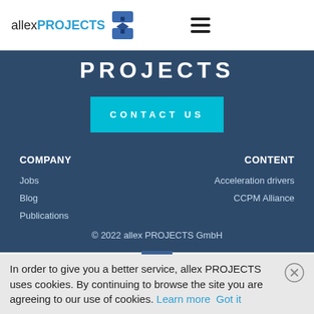allex PROJECTS
PROJECTS
CONTACT US
COMPANY
Jobs
Blog
Publications
CONTENT
Acceleration drivers
CCPM Alliance
© 2022 allex PROJECTS GmbH
In order to give you a better service, allex PROJECTS uses cookies. By continuing to browse the site you are agreeing to our use of cookies. Learn more Got it